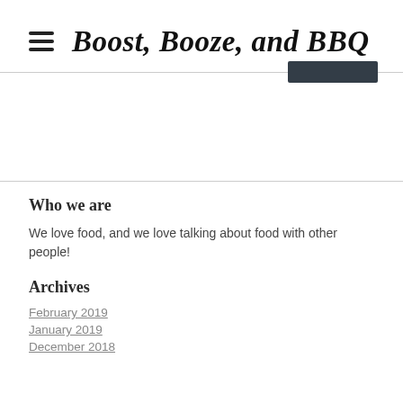Boost, Booze, and BBQ
Who we are
We love food, and we love talking about food with other people!
Archives
February 2019
January 2019
December 2018